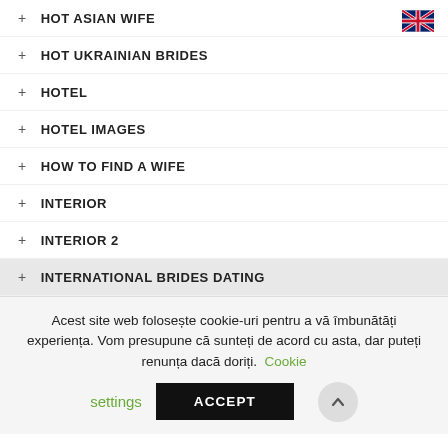+ HOT ASIAN WIFE
+ HOT UKRAINIAN BRIDES
+ HOTEL
+ HOTEL IMAGES
+ HOW TO FIND A WIFE
+ INTERIOR
+ INTERIOR 2
+ INTERNATIONAL BRIDES DATING
Acest site web folosește cookie-uri pentru a vă îmbunătăți experiența. Vom presupune că sunteți de acord cu asta, dar puteți renunța dacă doriți. Cookie settings ACCEPT